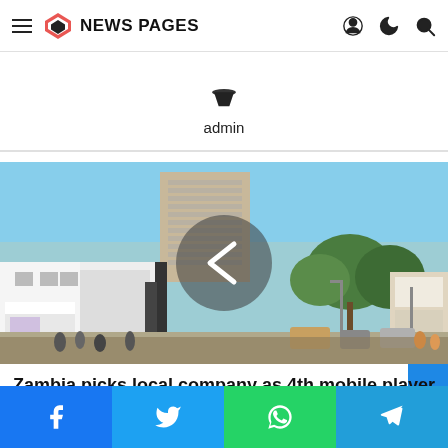NEWS PAGES
admin
[Figure (photo): Street scene in a Zambian city with a tall multi-storey building in the background, shops along the street, trees, and a crowd of people. A circular navigation arrow (left chevron) overlay is centered on the image.]
Zambia picks local company as 4th mobile player
[Figure (infographic): Social media share buttons bar: Facebook, Twitter, WhatsApp, Telegram]